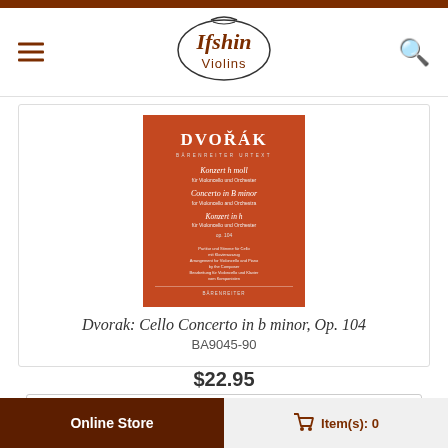[Figure (logo): Ifshin Violins logo with violin outline]
[Figure (photo): Book cover: Dvorak Cello Concerto in b minor Op. 104, orange cover with white text, Baerenreiter Urtext edition]
Dvorak: Cello Concerto in b minor, Op. 104
BA9045-90
$22.95
1
Online Store   Item(s): 0